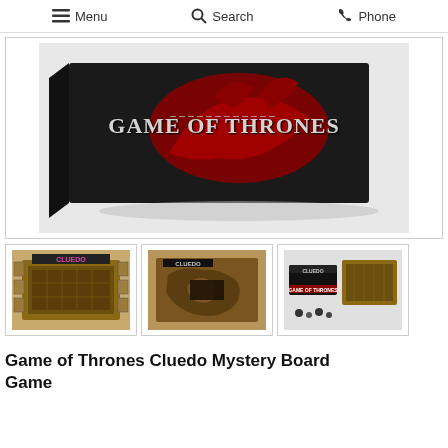Menu  Search  Phone
[Figure (photo): Game of Thrones Cluedo box product main image showing the dark box with red dragon logo and 'Game of Thrones' branding]
[Figure (photo): Thumbnail 1: Cluedo board game board layout with cards around the edges]
[Figure (photo): Thumbnail 2: Close-up of the Cluedo game board map]
[Figure (photo): Thumbnail 3: Cluedo game box, game board, and game pieces laid out]
Game of Thrones Cluedo Mystery Board Game